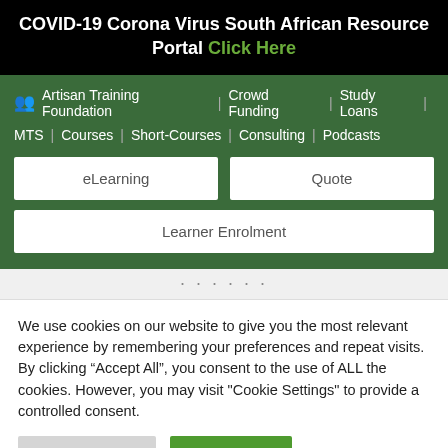COVID-19 Corona Virus South African Resource Portal Click Here
Artisan Training Foundation | Crowd Funding | Study Loans | MTS | Courses | Short-Courses | Consulting | Podcasts
eLearning
Quote
Learner Enrolment
We use cookies on our website to give you the most relevant experience by remembering your preferences and repeat visits. By clicking “Accept All”, you consent to the use of ALL the cookies. However, you may visit "Cookie Settings" to provide a controlled consent.
Cookie Settings
Accept All